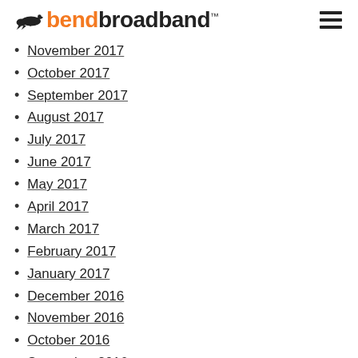bendbroadband
November 2017
October 2017
September 2017
August 2017
July 2017
June 2017
May 2017
April 2017
March 2017
February 2017
January 2017
December 2016
November 2016
October 2016
September 2016
August 2016
July 2016
June 2016
May 2016
April 2016